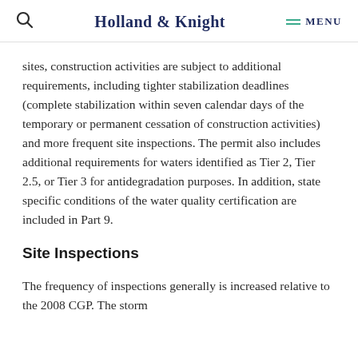Holland & Knight  MENU
sites, construction activities are subject to additional requirements, including tighter stabilization deadlines (complete stabilization within seven calendar days of the temporary or permanent cessation of construction activities) and more frequent site inspections. The permit also includes additional requirements for waters identified as Tier 2, Tier 2.5, or Tier 3 for antidegradation purposes. In addition, state specific conditions of the water quality certification are included in Part 9.
Site Inspections
The frequency of inspections generally is increased relative to the 2008 CGP. The storm